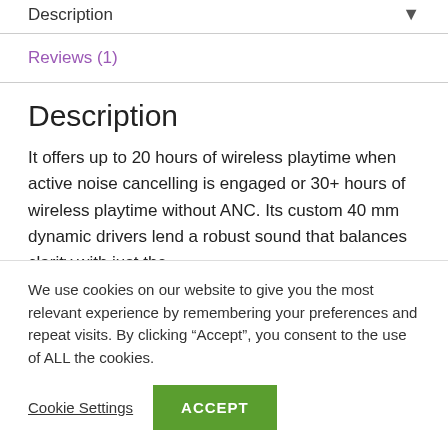Description
Reviews (1)
Description
It offers up to 20 hours of wireless playtime when active noise cancelling is engaged or 30+ hours of wireless playtime without ANC. Its custom 40 mm dynamic drivers lend a robust sound that balances clarity with just the
We use cookies on our website to give you the most relevant experience by remembering your preferences and repeat visits. By clicking “Accept”, you consent to the use of ALL the cookies.
Cookie Settings
ACCEPT